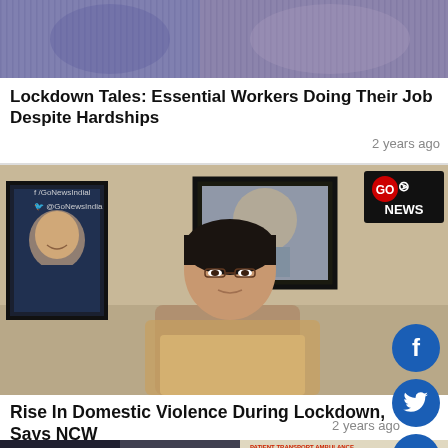[Figure (photo): Video thumbnail showing people, possibly in striped/colorful clothing — Lockdown Tales story thumbnail]
Lockdown Tales: Essential Workers Doing Their Job Despite Hardships
2 years ago
[Figure (photo): GoNews India video thumbnail showing a woman being interviewed via video call, with framed portrait of a politician on wall behind her. GoNews logo visible top right. Social media handles visible top left.]
Rise In Domestic Violence During Lockdown, Says NCW
2 years ago
[Figure (photo): GoNews India video thumbnail showing an ambulance labeled PATIENT TRANSPORT AMBULANCE at night with crowd of people visible]
[Figure (other): Social media share buttons sidebar: Facebook, Twitter, YouTube, Instagram]